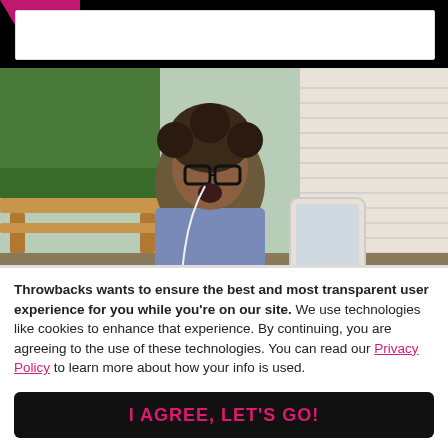CONTINUE READING
[Figure (photo): Young man with curly hair, glasses, and earbuds looking shocked at a tablet, sitting outdoors near wooden benches and greenery]
Throwbacks wants to ensure the best and most transparent user experience for you while you're on our site. We use technologies like cookies to enhance that experience. By continuing, you are agreeing to the use of these technologies. You can read our Privacy Policy to learn more about how your info is used.
I AGREE, LET'S GO!